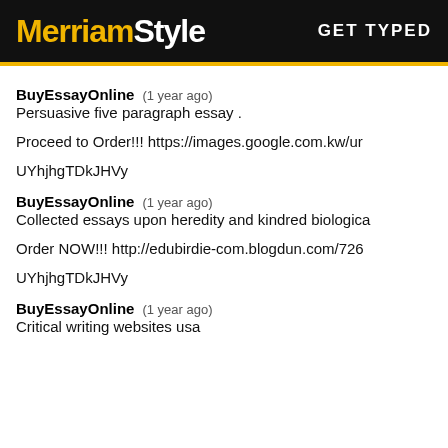MerriamStyle   GET TYPED
BuyEssayOnline   (1 year ago)
Persuasive five paragraph essay .
Proceed to Order!!! https://images.google.com.kw/ur
UYhjhgTDkJHVy
BuyEssayOnline   (1 year ago)
Collected essays upon heredity and kindred biologica
Order NOW!!! http://edubirdie-com.blogdun.com/726
UYhjhgTDkJHVy
BuyEssayOnline   (1 year ago)
Critical writing websites usa